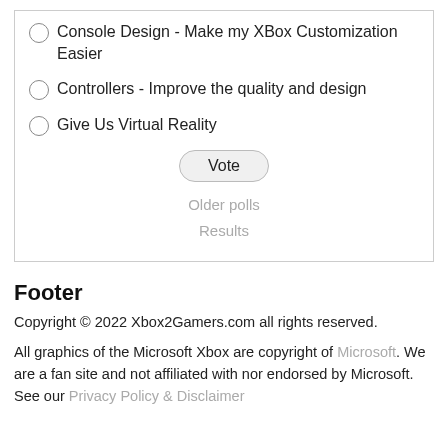Console Design - Make my XBox Customization Easier
Controllers - Improve the quality and design
Give Us Virtual Reality
Vote
Older polls
Results
Footer
Copyright © 2022 Xbox2Gamers.com all rights reserved.
All graphics of the Microsoft Xbox are copyright of Microsoft. We are a fan site and not affiliated with nor endorsed by Microsoft. See our Privacy Policy & Disclaimer